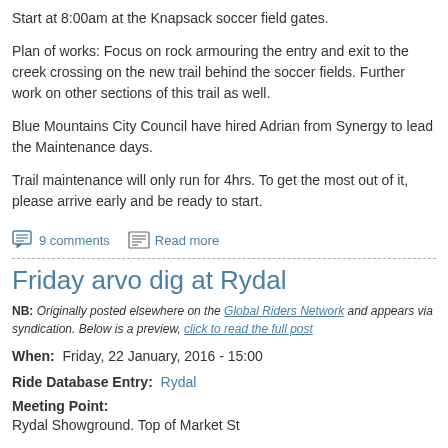Start at 8:00am at the Knapsack soccer field gates.
Plan of works: Focus on rock armouring the entry and exit to the creek crossing on the new trail behind the soccer fields. Further work on other sections of this trail as well.
Blue Mountains City Council have hired Adrian from Synergy to lead the Maintenance days.
Trail maintenance will only run for 4hrs. To get the most out of it, please arrive early and be ready to start.
9 comments   Read more
Friday arvo dig at Rydal
NB: Originally posted elsewhere on the Global Riders Network and appears via syndication. Below is a preview, click to read the full post
When:  Friday, 22 January, 2016 - 15:00
Ride Database Entry:  Rydal
Meeting Point:
Rydal Showground. Top of Market St